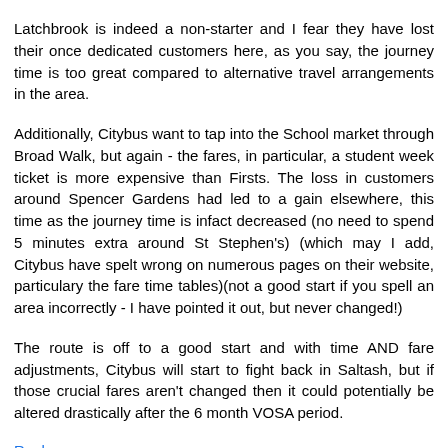Latchbrook is indeed a non-starter and I fear they have lost their once dedicated customers here, as you say, the journey time is too great compared to alternative travel arrangements in the area.
Additionally, Citybus want to tap into the School market through Broad Walk, but again - the fares, in particular, a student week ticket is more expensive than Firsts. The loss in customers around Spencer Gardens had led to a gain elsewhere, this time as the journey time is infact decreased (no need to spend 5 minutes extra around St Stephen's) (which may I add, Citybus have spelt wrong on numerous pages on their website, particulary the fare time tables)(not a good start if you spell an area incorrectly - I have pointed it out, but never changed!)
The route is off to a good start and with time AND fare adjustments, Citybus will start to fight back in Saltash, but if those crucial fares aren't changed then it could potentially be altered drastically after the 6 month VOSA period.
Reply